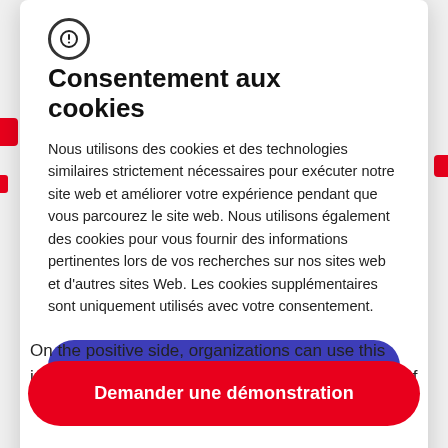Consentement aux cookies
Nous utilisons des cookies et des technologies similaires strictement nécessaires pour exécuter notre site web et améliorer votre expérience pendant que vous parcourez le site web. Nous utilisons également des cookies pour vous fournir des informations pertinentes lors de vos recherches sur nos sites web et d'autres sites Web. Les cookies supplémentaires sont uniquement utilisés avec votre consentement.
On the positive side, organizations can use this information to filter the seemingly endless deluge of
Demander une démonstration